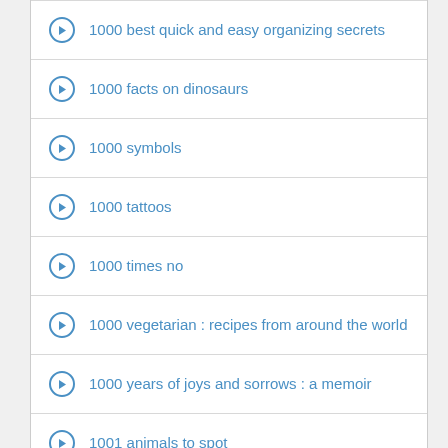1000 best quick and easy organizing secrets
1000 facts on dinosaurs
1000 symbols
1000 tattoos
1000 times no
1000 vegetarian : recipes from around the world
1000 years of joys and sorrows : a memoir
1001 animals to spot
1001 classic commercials, Disc 1-3,
1001 designs for whittling and woodcarving
1001 fishing tips : the ultimate guide to finding and catching more and bigger fish